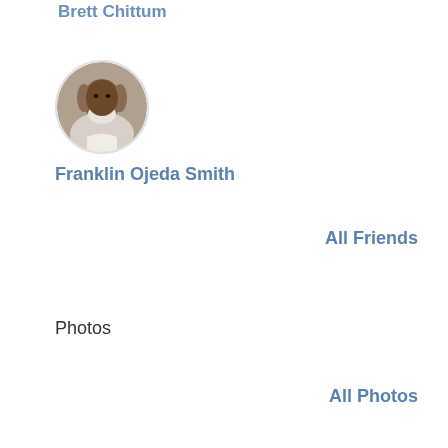Brett Chittum
[Figure (photo): Circular profile photo of an elderly man]
Franklin Ojeda Smith
All Friends
Photos
All Photos